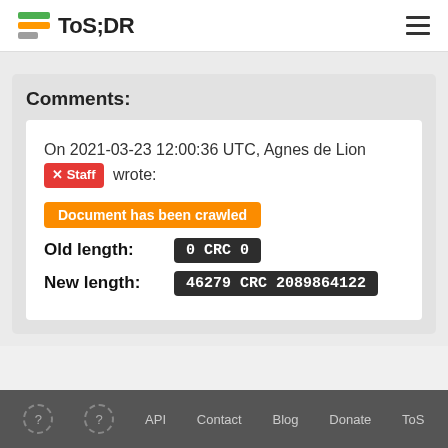ToS;DR
Comments:
On 2021-03-23 12:00:36 UTC, Agnes de Lion [Staff] wrote:
Document has been crawled
Old length: 0 CRC 0
New length: 46279 CRC 2089864122
? ? API Contact Blog Donate ToS